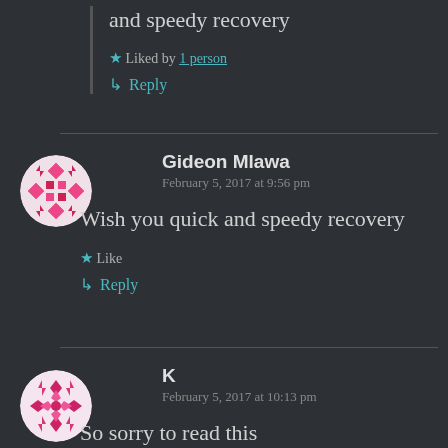and speedy recovery
★ Liked by 1 person
↳ Reply
Gideon Mlawa
February 5, 2017 at 9:56 pm
Wish you quick and speedy recovery
★ Like
↳ Reply
K
February 5, 2017 at 10:13 pm
So sorry to read this